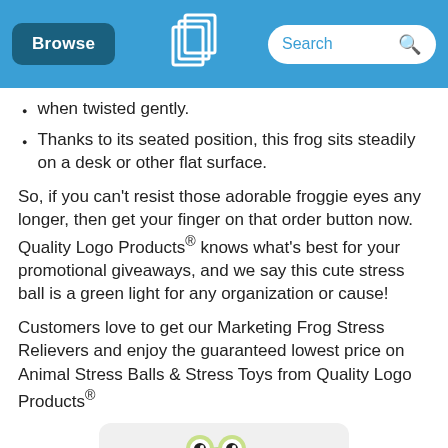Browse | [QLP Logo] | Search
when twisted gently.
Thanks to its seated position, this frog sits steadily on a desk or other flat surface.
So, if you can't resist those adorable froggie eyes any longer, then get your finger on that order button now. Quality Logo Products® knows what's best for your promotional giveaways, and we say this cute stress ball is a green light for any organization or cause!
Customers love to get our Marketing Frog Stress Relievers and enjoy the guaranteed lowest price on Animal Stress Balls & Stress Toys from Quality Logo Products®
[Figure (photo): Frog stress ball toy with large cartoon eyes, green color, seated position]